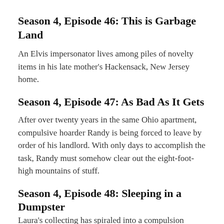Season 4, Episode 46: This is Garbage Land
An Elvis impersonator lives among piles of novelty items in his late mother's Hackensack, New Jersey home.
Season 4, Episode 47: As Bad As It Gets
After over twenty years in the same Ohio apartment, compulsive hoarder Randy is being forced to leave by order of his landlord. With only days to accomplish the task, Randy must somehow clear out the eight-foot-high mountains of stuff.
Season 4, Episode 48: Sleeping in a Dumpster
Laura's collecting has spiraled into a compulsion